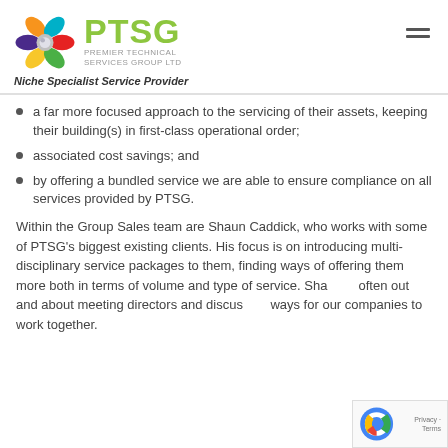PTSG - Premier Technical Services Group Ltd - Niche Specialist Service Provider
a far more focused approach to the servicing of their assets, keeping their building(s) in first-class operational order;
associated cost savings; and
by offering a bundled service we are able to ensure compliance on all services provided by PTSG.
Within the Group Sales team are Shaun Caddick, who works with some of PTSG’s biggest existing clients. His focus is on introducing multi-disciplinary service packages to them, finding ways of offering them more both in terms of volume and type of service. Shaun is often out and about meeting directors and discussing ways for our companies to work together.